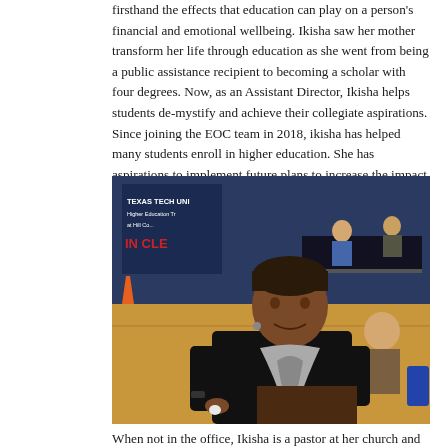firsthand the effects that education can play on a person's financial and emotional wellbeing. Ikisha saw her mother transform her life through education as she went from being a public assistance recipient to becoming a scholar with four degrees. Now, as an Assistant Director, Ikisha helps students de-mystify and achieve their collegiate aspirations. Since joining the EOC team in 2018, ikisha has helped many students enroll in higher education. She has aspirations to implement future plans to increase the impact that Opportunity Resource Services has on the community.
[Figure (photo): Woman in black top with grey scarf speaking at what appears to be a college fair or event inside a gymnasium. A Texas Tech University banner is visible in the background. She is talking to a student (back of head visible). Other people and tables are visible in the background.]
When not in the office, Ikisha is a pastor at her church and an author. She loves to travel and spend quality time with her daughters and